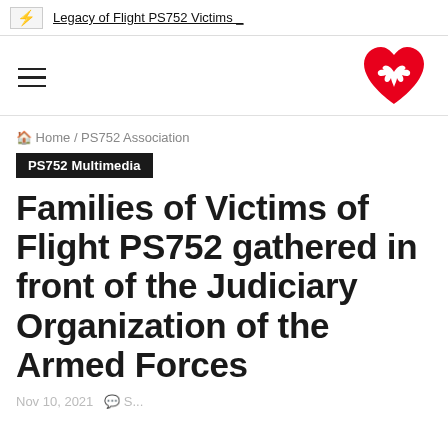⚡ Legacy of Flight PS752 Victims _
[Figure (logo): Red heart-shaped logo with a white dove/bird silhouette inside, associated with PS752 Association]
🏠 Home / PS752 Association
PS752 Multimedia
Families of Victims of Flight PS752 gathered in front of the Judiciary Organization of the Armed Forces
Nov 10, 2021 ...